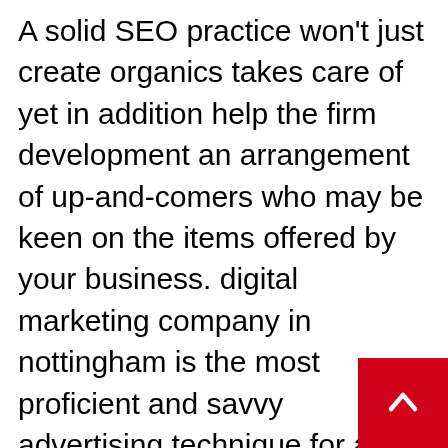A solid SEO practice won't just create organics takes care of yet in addition help the firm development an arrangement of up-and-comers who may be keen on the items offered by your business. digital marketing company in nottingham is the most proficient and savvy advertising technique for any business, assisting them with focusing down on just the intrigued clients. While conveying or producing just natural feeds for your business. Natural feeds are each snap that you can change over or veer off to your site, by positioning it to the post situation of any web index, which is showing data about anyt that your item or administration does or per